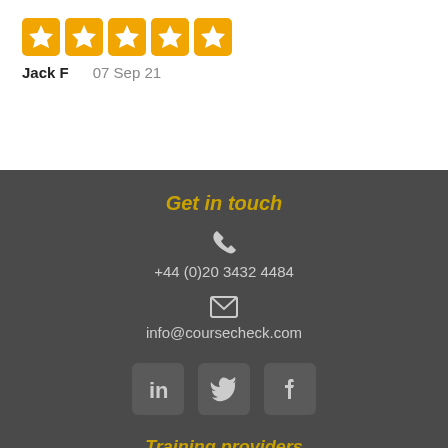[Figure (illustration): Five filled star rating icons in yellow/gold color]
Jack F    07 Sep 21
Get in touch
+44 (0)20 3432 4484
info@coursecheck.com
[Figure (illustration): LinkedIn, Twitter, and Facebook social media icons in grey boxes]
Training providers
Start free trial